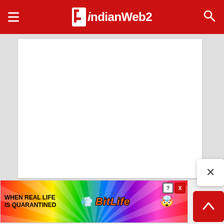IndianWeb2
[Figure (screenshot): White empty content area on a light gray background]
[Figure (screenshot): BitLife advertisement banner: 'WHEN REAL LIFE IS QUARANTINED - BitLife' with colorful rainbow background and emoji graphics. Has help (?) and close (X) buttons.]
[Figure (screenshot): Close button (X) floating panel on right side]
[Figure (screenshot): Red back-to-top button (^) in bottom right corner]